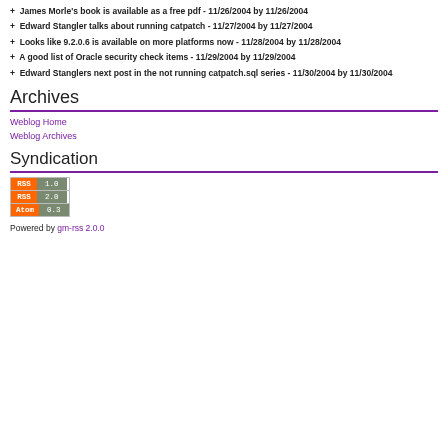+ James Morle's book is available as a free pdf - 11/26/2004 by 11/26/2004
+ Edward Stangler talks about running catpatch - 11/27/2004 by 11/27/2004
+ Looks like 9.2.0.6 is available on more platforms now - 11/28/2004 by 11/28/2004
+ A good list of Oracle security check items - 11/29/2004 by 11/29/2004
+ Edward Stanglers next post in the not running catpatch.sql series - 11/30/2004 by 11/30/2004
Archives
Weblog Home
Weblog Archives
Syndication
[Figure (other): RSS 1.0, RSS 2.0, Atom 0.3 feed badges]
Powered by gm-rss 2.0.0